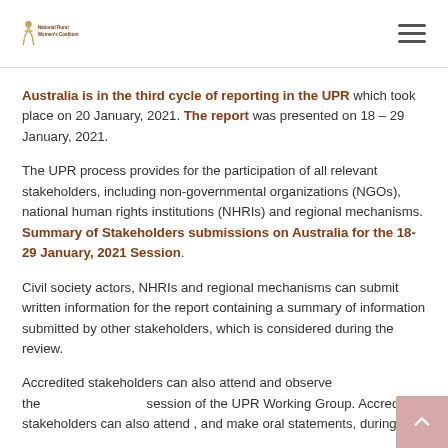National Rural Women's Coalition logo and navigation menu
Australia is in the third cycle of reporting in the UPR which took place on 20 January, 2021. The report was presented on 18 – 29 January, 2021.
The UPR process provides for the participation of all relevant stakeholders, including non-governmental organizations (NGOs), national human rights institutions (NHRIs) and regional mechanisms. Summary of Stakeholders submissions on Australia for the 18-29 January, 2021 Session.
Civil society actors, NHRIs and regional mechanisms can submit written information for the report containing a summary of information submitted by other stakeholders, which is considered during the review.
Accredited stakeholders can also attend and observe the session of the UPR Working Group. Accredited stakeholders can also attend , and make oral statements, during the